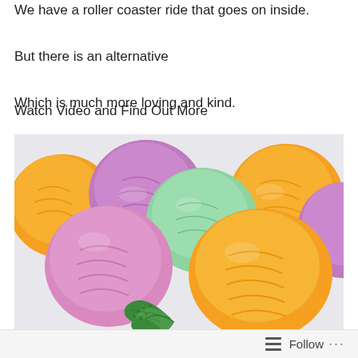We have a roller coaster ride that goes on inside.
But there is an alternative
Which is much more loving and kind.
Watch Video and Find Out More
[Figure (photo): Colorful scoops of ice cream in yellow/orange, purple, mint green, and pink/mauve colors arranged together, with green mint leaves in front, on a light background.]
Follow